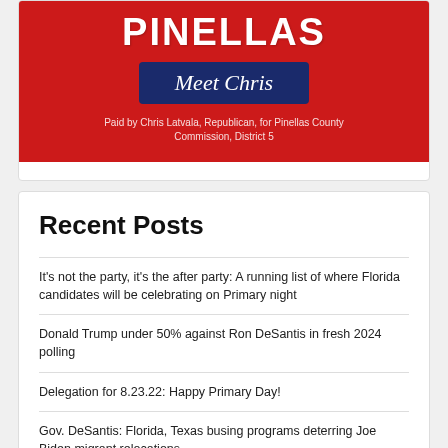[Figure (illustration): Political advertisement banner for Chris Latvala, Republican candidate for Pinellas County Commission District 5. Red background with large white bold text 'PINELLAS', navy blue box with italic white text 'Meet Chris', and small white disclaimer text below.]
Recent Posts
It's not the party, it's the after party: A running list of where Florida candidates will be celebrating on Primary night
Donald Trump under 50% against Ron DeSantis in fresh 2024 polling
Delegation for 8.23.22: Happy Primary Day!
Gov. DeSantis: Florida, Texas busing programs deterring Joe Biden migrant relocations
Ron DeSantis slams Nikki Fried, predicts she'll lose Democratic Primary to Charlie Crist